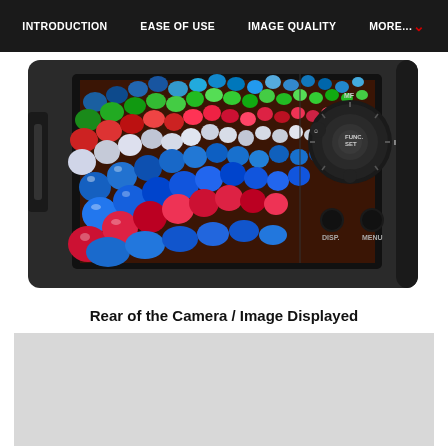INTRODUCTION  EASE OF USE  IMAGE QUALITY  MORE...
[Figure (photo): Rear view of a digital camera (Canon) showing the back LCD screen displaying a colorful image of multicolored spheres/balls, and the control buttons including MF, FUNC SET, ISO, DISP., and MENU buttons arranged on the right side of the camera body.]
Rear of the Camera / Image Displayed
[Figure (photo): Light gray placeholder area for a second image.]